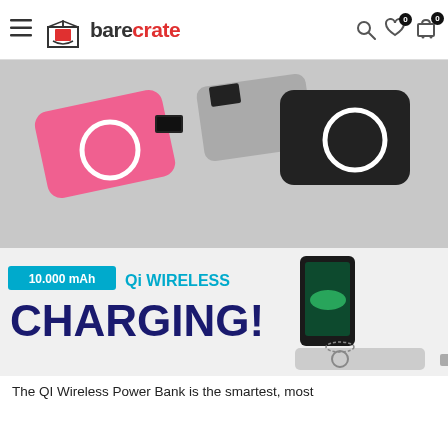bare crate — navigation header with hamburger menu, logo, search, wishlist (0), cart (0)
[Figure (photo): Product photo showing pink and black wireless power bank chargers with circular Qi charging coil visible, arranged at angles on white background]
[Figure (photo): Promotional banner showing '10.000 mAh Qi WIRELESS CHARGING!' text with cyan badge, bold dark blue text, and an image of a smartphone being wirelessly charged by a power bank]
The QI Wireless Power Bank is the smartest, most